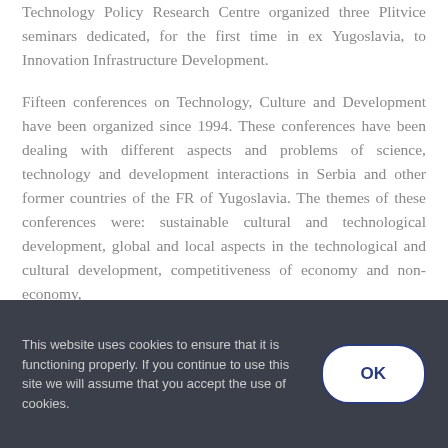Technology Policy Research Centre organized three Plitvice seminars dedicated, for the first time in ex Yugoslavia, to Innovation Infrastructure Development.
Fifteen conferences on Technology, Culture and Development have been organized since 1994. These conferences have been dealing with different aspects and problems of science, technology and development interactions in Serbia and other former countries of the FR of Yugoslavia. The themes of these conferences were: sustainable cultural and technological development, global and local aspects in the technological and cultural development, competitiveness of economy and non-economy,
This website uses cookies to ensure that it is functioning properly. If you continue to use this site we will assume that you accept the use of cookies.